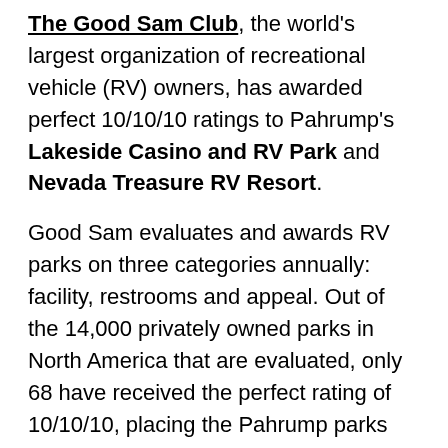The Good Sam Club, the world's largest organization of recreational vehicle (RV) owners, has awarded perfect 10/10/10 ratings to Pahrump's Lakeside Casino and RV Park and Nevada Treasure RV Resort.
Good Sam evaluates and awards RV parks on three categories annually: facility, restrooms and appeal. Out of the 14,000 privately owned parks in North America that are evaluated, only 68 have received the perfect rating of 10/10/10, placing the Pahrump parks among the elite 1 percent of RV parks in the nation.
Other Pahrump RV resorts also fared well in the Good Sam ratings:
Pahrump Station RV Resort received a rating of 8.5/9/8.5